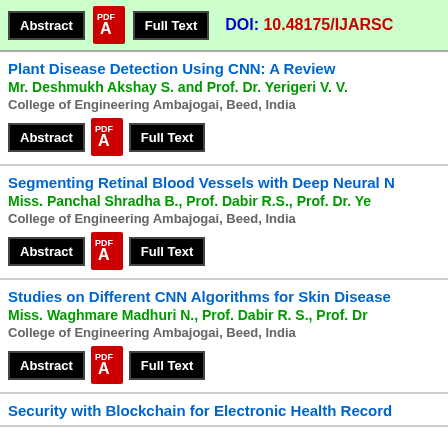Abstract | Full Text | DOI: 10.48175/IJARSC
Plant Disease Detection Using CNN: A Review
Mr. Deshmukh Akshay S. and Prof. Dr. Yerigeri V. V.
College of Engineering Ambajogai, Beed, India
Abstract | Full Text
Segmenting Retinal Blood Vessels with Deep Neural N
Miss. Panchal Shradha B., Prof. Dabir R.S., Prof. Dr. Ye
College of Engineering Ambajogai, Beed, India
Abstract | Full Text
Studies on Different CNN Algorithms for Skin Disease
Miss. Waghmare Madhuri N., Prof. Dabir R. S., Prof. Dr
College of Engineering Ambajogai, Beed, India
Abstract | Full Text
Security with Blockchain for Electronic Health Record